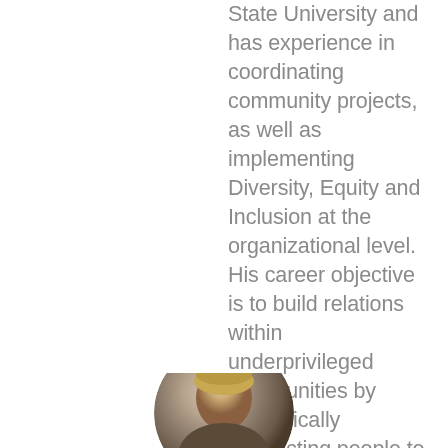State University and has experience in coordinating community projects, as well as implementing Diversity, Equity and Inclusion at the organizational level. His career objective is to build relations within underprivileged communities by strategically connecting people to resources that support financial literacy, promote community engagement and that demonstrate recognizable impact.    ...
[Figure (photo): Circular portrait photo of a person, partially visible at the bottom of the page]